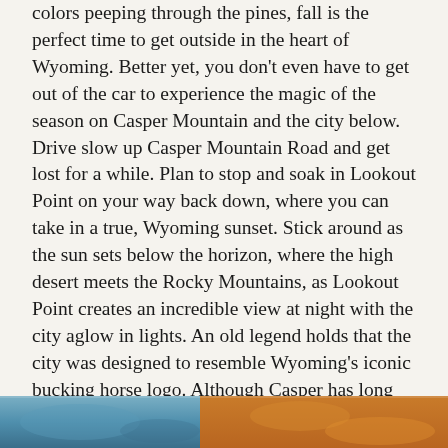colors peeping through the pines, fall is the perfect time to get outside in the heart of Wyoming. Better yet, you don't even have to get out of the car to experience the magic of the season on Casper Mountain and the city below. Drive slow up Casper Mountain Road and get lost for a while. Plan to stop and soak in Lookout Point on your way back down, where you can take in a true, Wyoming sunset. Stick around as the sun sets below the horizon, where the high desert meets the Rocky Mountains, as Lookout Point creates an incredible view at night with the city aglow in lights. An old legend holds that the city was designed to resemble Wyoming's iconic bucking horse logo. Although Casper has long since outgrown the silhouette of earlier days, the nostalgia lives on and makes for a bucket-list destination.
[Figure (photo): Partial view of a colorful outdoor scene — appears to be a nature or landscape photo strip at the bottom of the page, showing blues and oranges suggesting sky and autumn colors.]